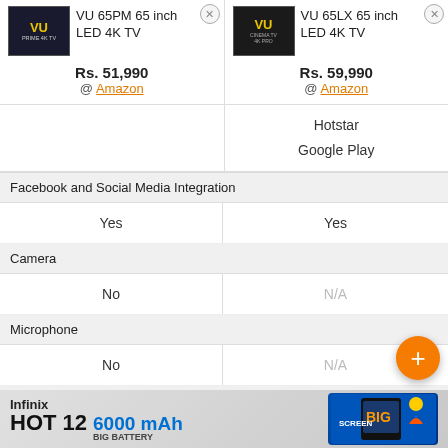| VU 65PM 65 inch LED 4K TV | VU 65LX 65 inch LED 4K TV |
| --- | --- |
| Rs. 51,990 @ Amazon | Rs. 59,990 @ Amazon |
|  | Hotstar
Google Play |
| Facebook and Social Media Integration | Facebook and Social Media Integration |
| Yes | Yes |
| Camera | Camera |
| No | N/A |
| Microphone | Microphone |
| No | N/A |
| Voice Recognition | Voice Recognition |
| No | Yes |
[Figure (other): Infinix HOT 12 advertisement banner with 6000 mAh BIG BATTERY text and phone image]